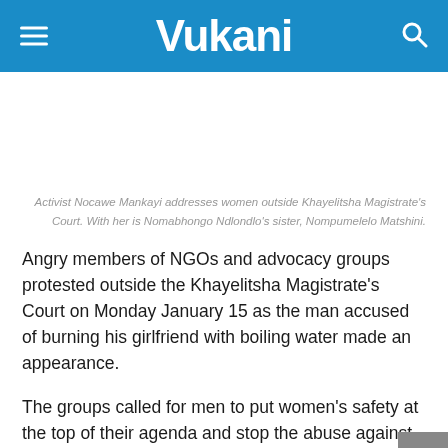Vukani
Activist Nocawe Mankayi addresses women outside Khayelitsha Magistrate's Court. With her is Nomabhongo Ndlondlo's sister, Nompumelelo Matshini.
Angry members of NGOs and advocacy groups protested outside the Khayelitsha Magistrate's Court on Monday January 15 as the man accused of burning his girlfriend with boiling water made an appearance.
The groups called for men to put women's safety at the top of their agenda and stop the abuse against them.